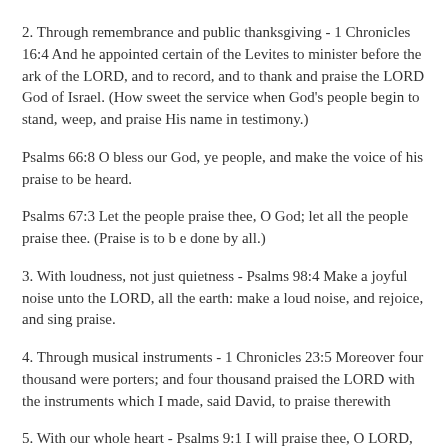2. Through remembrance and public thanksgiving - 1 Chronicles 16:4 And he appointed certain of the Levites to minister before the ark of the LORD, and to record, and to thank and praise the LORD God of Israel. (How sweet the service when God’s people begin to stand, weep, and praise His name in testimony.)
Psalms 66:8 O bless our God, ye people, and make the voice of his praise to be heard.
Psalms 67:3 Let the people praise thee, O God; let all the people praise thee. (Praise is to b e done by all.)
3. With loudness, not just quietness - Psalms 98:4 Make a joyful noise unto the LORD, all the earth: make a loud noise, and rejoice, and sing praise.
4. Through musical instruments - 1 Chronicles 23:5 Moreover four thousand were porters; and four thousand praised the LORD with the instruments which I made, said David, to praise therewith
5. With our whole heart - Psalms 9:1 I will praise thee, O LORD,